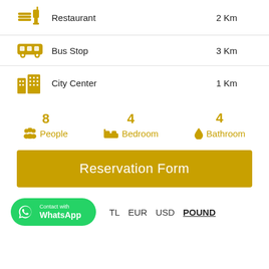Restaurant  2 Km
Bus Stop  3 Km
City Center  1 Km
8 People  4 Bedroom  4 Bathroom
Reservation Form
Contact with WhatsApp  TL  EUR  USD  POUND